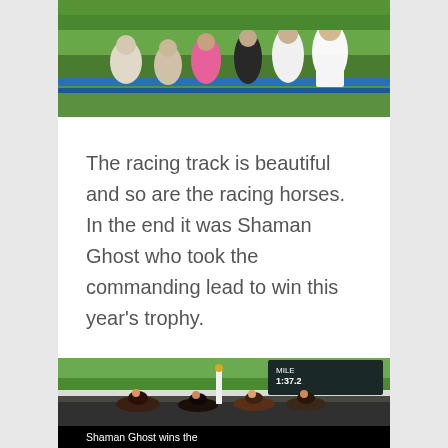[Figure (photo): Group of people dressed in formal and semi-formal attire posing at a horse racing event, with blue railings and green grass in the background.]
The racing track is beautiful and so are the racing horses. In the end it was Shaman Ghost who took the commanding lead to win this year's trophy.
[Figure (photo): Horse race in progress at a racetrack showing multiple horses and jockeys competing, with a scoreboard showing MILE 1:37.2 in the background. A caption bar reads 'Shaman Ghost wins the [15th Queens's Plate]'.]
Shaman Ghost wins the